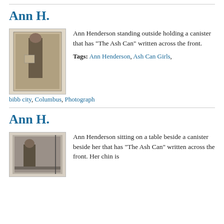Ann H.
[Figure (photo): Black and white photograph of Ann Henderson standing outside holding a canister with 'The Ash Can' written across the front.]
Ann Henderson standing outside holding a canister that has "The Ash Can" written across the front.
Tags: Ann Henderson, Ash Can Girls, bibb city, Columbus, Photograph
Ann H.
[Figure (photo): Black and white photograph of Ann Henderson sitting on a table beside a canister that has 'The Ash Can' written across the front.]
Ann Henderson sitting on a table beside a canister beside her that has "The Ash Can" written across the front. Her chin is...